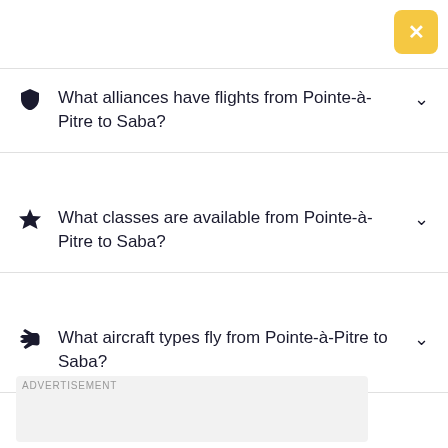[Figure (other): Yellow/gold close button with white X in top right corner]
What alliances have flights from Pointe-à-Pitre to Saba?
What classes are available from Pointe-à-Pitre to Saba?
What aircraft types fly from Pointe-à-Pitre to Saba?
ADVERTISEMENT